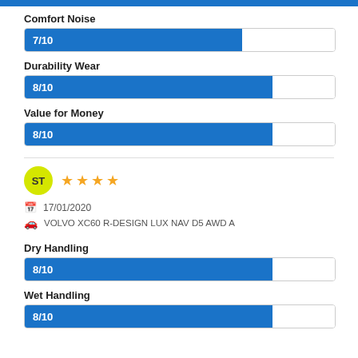[Figure (other): Top blue bar cropped at top of page]
Comfort Noise
[Figure (bar-chart): Comfort Noise]
Durability Wear
[Figure (bar-chart): Durability Wear]
Value for Money
[Figure (bar-chart): Value for Money]
ST — 4 stars — 17/01/2020 — VOLVO XC60 R-DESIGN LUX NAV D5 AWD A
Dry Handling
[Figure (bar-chart): Dry Handling]
Wet Handling
[Figure (bar-chart): Wet Handling]